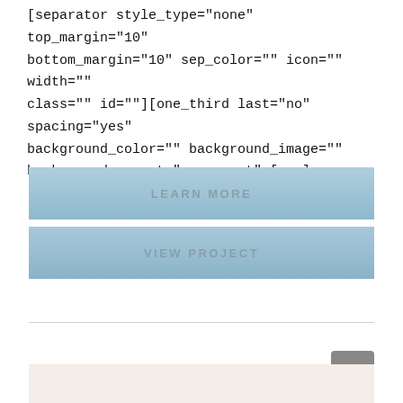[separator style_type="none" top_margin="10" bottom_margin="10" sep_color="" icon="" width="" class="" id=""][one_third last="no" spacing="yes" background_color="" background_image="" background_repeat="no-repeat" [...]
[Figure (other): LEARN MORE button - light blue gradient rectangular button with uppercase text]
[Figure (other): VIEW PROJECT button - light blue gradient rectangular button with uppercase text]
[Figure (other): Horizontal separator line]
[Figure (other): Back to top button - grey rounded square with upward chevron arrow]
[Figure (other): Footer box - light beige/pink background box]